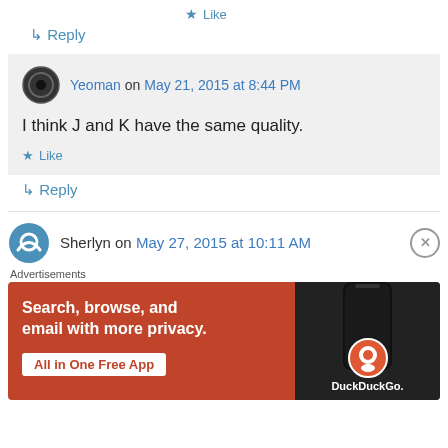★ Like
↳ Reply
Yeoman on May 21, 2015 at 8:44 PM
I think J and K have the same quality.
★ Like
↳ Reply
Sherlyn on May 27, 2015 at 10:11 AM
Advertisements
[Figure (screenshot): DuckDuckGo advertisement: Search, browse, and email with more privacy. All in One Free App. Shows phone mockup with DuckDuckGo logo.]